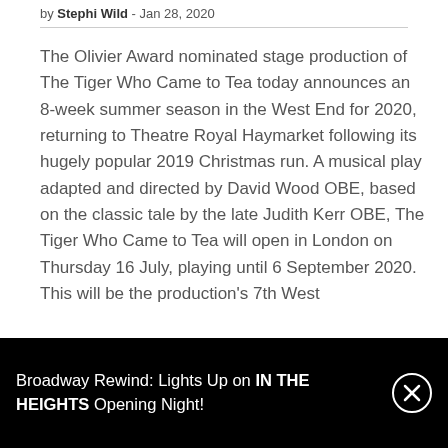by Stephi Wild - Jan 28, 2020
The Olivier Award nominated stage production of The Tiger Who Came to Tea today announces an 8-week summer season in the West End for 2020, returning to Theatre Royal Haymarket following its hugely popular 2019 Christmas run. A musical play adapted and directed by David Wood OBE, based on the classic tale by the late Judith Kerr OBE, The Tiger Who Came to Tea will open in London on Thursday 16 July, playing until 6 September 2020. This will be the production's 7th West
Broadway Rewind: Lights Up on IN THE HEIGHTS Opening Night!